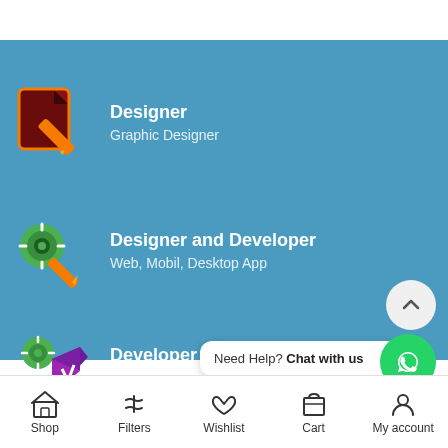[Figure (screenshot): Mobile app UI showing category selection screen with three role options: Designer (Graphic Designer), Designer and Developer (Web, Mobil, Desktop App), Developer (Project). Each has an icon. Bottom shows WhatsApp chat widget and scroll-to-top button. Bottom navigation bar has Shop, Filters, Wishlist, Cart, My account.]
Designer — Graphic Designer
Designer and Developer — Web, Mobil, Desktop App
Developer — Project
Need Help? Chat with us
Shop | Filters | Wishlist | Cart | My account